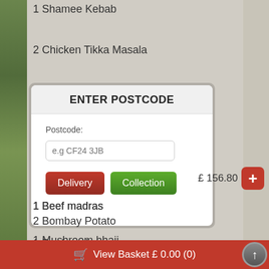1 Shamee Kebab
2 Chicken Tikka Masala
ENTER POSTCODE
Postcode:
e.g CF24 3JB
Delivery
Collection
£ 156.80
1 Beef madras
2 Bombay Potato
1 Mushroom bhaji
View Basket £ 0.00 (0)